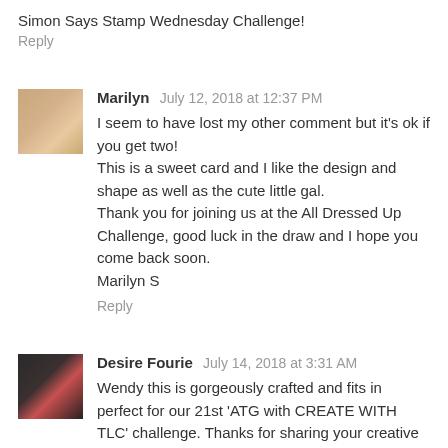Simon Says Stamp Wednesday Challenge!
Reply
Marilyn July 12, 2018 at 12:37 PM
I seem to have lost my other comment but it's ok if you get two!
This is a sweet card and I like the design and shape as well as the cute little gal.
Thank you for joining us at the All Dressed Up Challenge, good luck in the draw and I hope you come back soon.
Marilyn S
Reply
Desire Fourie July 14, 2018 at 3:31 AM
Wendy this is gorgeously crafted and fits in perfect for our 21st 'ATG with CREATE WITH TLC' challenge. Thanks for sharing your creative talent with us. Good luck and hope to see you play with us again.
Hugs